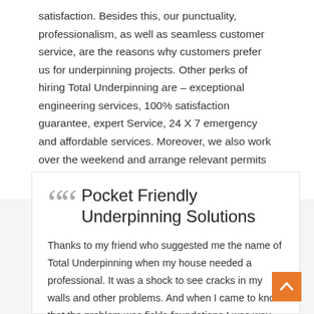satisfaction. Besides this, our punctuality, professionalism, as well as seamless customer service, are the reasons why customers prefer us for underpinning projects. Other perks of hiring Total Underpinning are – exceptional engineering services, 100% satisfaction guarantee, expert Service, 24 X 7 emergency and affordable services. Moreover, we also work over the weekend and arrange relevant permits and approvals on your behalf.
Pocket Friendly Underpinning Solutions
Thanks to my friend who suggested me the name of Total Underpinning when my house needed a professional. It was a shock to see cracks in my walls and other problems. And when I came to know that the problem was fickle foundations I was way too scared. However, these guys sorted out the problem in no time and ensured that it didn't become a nightmare for me